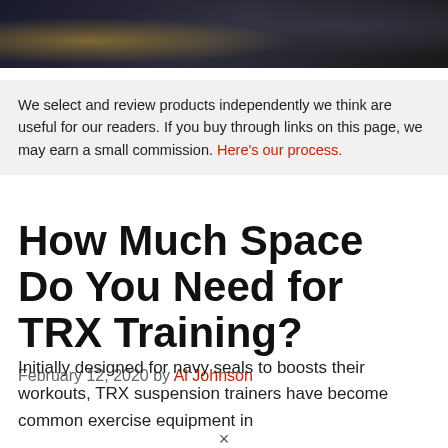[Figure (photo): Partial photo strip at top of page showing a person in dark clothing, cropped, against a dark background with yellow accent]
We select and review products independently we think are useful for our readers. If you buy through links on this page, we may earn a small commission. Here's our process.
How Much Space Do You Need for TRX Training?
February 12, 2020 by Al Johnson
Initially designed for navy seals to boosts their workouts, TRX suspension trainers have become common exercise equipment in